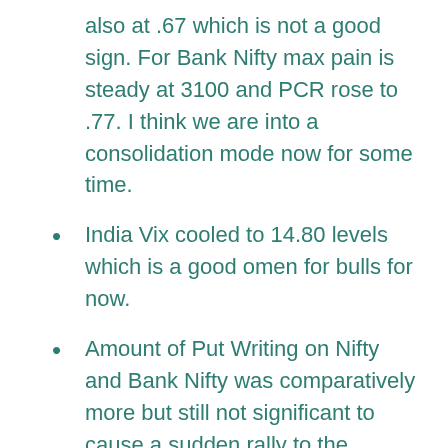also at .67 which is not a good sign. For Bank Nifty max pain is steady at 3100 and PCR rose to .77. I think we are into a consolidation mode now for some time.
India Vix cooled to 14.80 levels which is a good omen for bulls for now.
Amount of Put Writing on Nifty and Bank Nifty was comparatively more but still not significant to cause a sudden rally to the upside.
On Saturday, Trump decided to defer sanctions on Mexico indefinitely and there are also news of removing Huawei